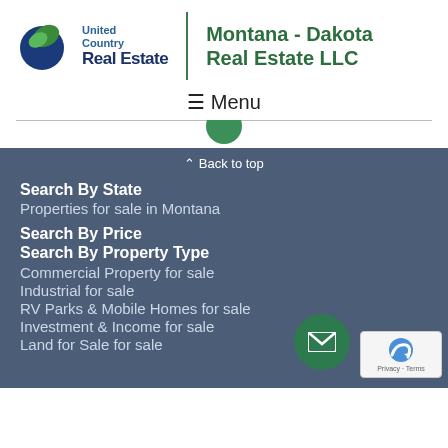[Figure (logo): United Country Real Estate logo with globe icon and blue/green text]
Montana - Dakota Real Estate LLC
≡ Menu
∧ Back to top
Search By State
Properties for sale in Montana
Search By Price
Search By Property Type
Commercial Property for sale
Industrial for sale
RV Parks & Mobile Homes for sale
Investment & Income for sale
Land for Sale for sale